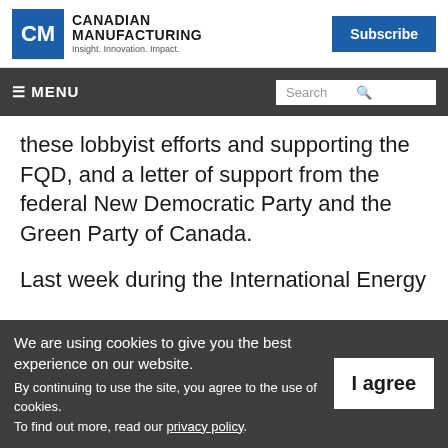[Figure (logo): Canadian Manufacturing logo with CM in blue square, text 'CANADIAN MANUFACTURING' and tagline 'Insight. Innovation. Impact.' Plus blue Subscribe button on the right.]
≡ MENU    Search
these lobbyist efforts and supporting the FQD, and a letter of support from the federal New Democratic Party and the Green Party of Canada.
Last week during the International Energy
We are using cookies to give you the best experience on our website.
By continuing to use the site, you agree to the use of cookies.
To find out more, read our privacy policy.